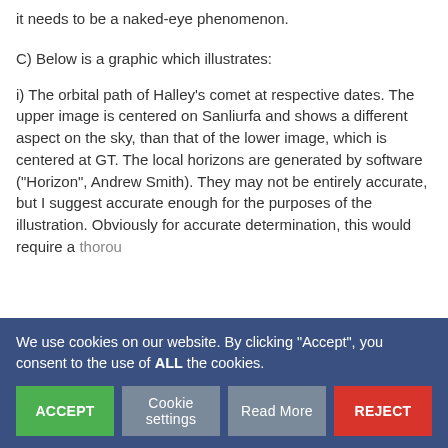it needs to be a naked-eye phenomenon.
C) Below is a graphic which illustrates:
i) The orbital path of Halley’s comet at respective dates. The upper image is centered on Sanliurfa and shows a different aspect on the sky, than that of the lower image, which is centered at GT. The local horizons are generated by software (“Horizon”, Andrew Smith). They may not be entirely accurate, but I suggest accurate enough for the purposes of the illustration. Obviously for accurate determination, this would require a thoroug...
We use cookies on our website. By clicking “Accept”, you consent to the use of ALL the cookies.